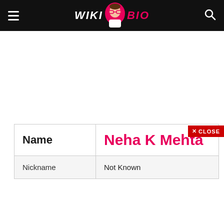WIKI BIO
| Name | Neha K Mehta |
| Nickname | Not Known |